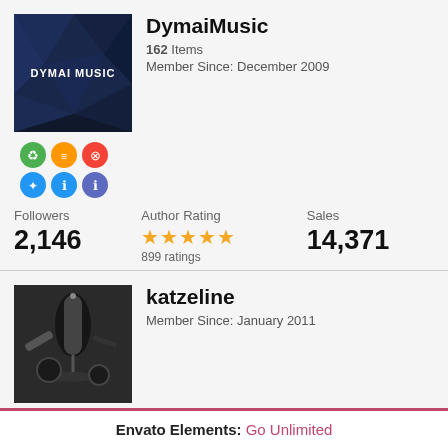[Figure (logo): DymaiMusic dark blue geometric avatar with text DYMAI MUSIC]
DymaiMusic
162 Items
Member Since: December 2009
[Figure (illustration): Six colored badge icons in two rows]
Followers 2,146
Author Rating 899 ratings
Sales 14,371
[Figure (photo): Black and white photo of microphone and guitar equipment]
katzeline
Member Since: January 2011
[Figure (illustration): Six colored badge icons in two rows]
Followers 791
Author Rating
Sales 21,500
Envato Elements: Go Unlimited